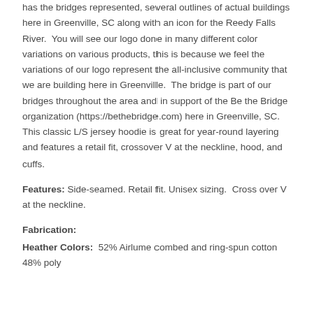has the bridges represented, several outlines of actual buildings here in Greenville, SC along with an icon for the Reedy Falls River.  You will see our logo done in many different color variations on various products, this is because we feel the variations of our logo represent the all-inclusive community that we are building here in Greenville.  The bridge is part of our bridges throughout the area and in support of the Be the Bridge organization (https://bethebridge.com) here in Greenville, SC.  This classic L/S jersey hoodie is great for year-round layering and features a retail fit, crossover V at the neckline, hood, and cuffs.
Features: Side-seamed. Retail fit. Unisex sizing.  Cross over V at the neckline.
Fabrication:
Heather Colors:  52% Airlume combed and ring-spun cotton 48% poly